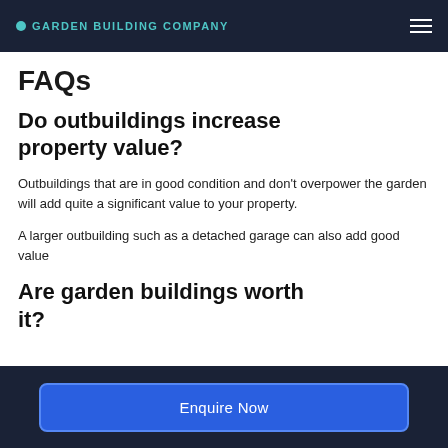GARDEN BUILDING COMPANY
FAQs
Do outbuildings increase property value?
Outbuildings that are in good condition and don't overpower the garden will add quite a significant value to your property.
A larger outbuilding such as a detached garage can also add good value
Are garden buildings worth it?
Enquire Now